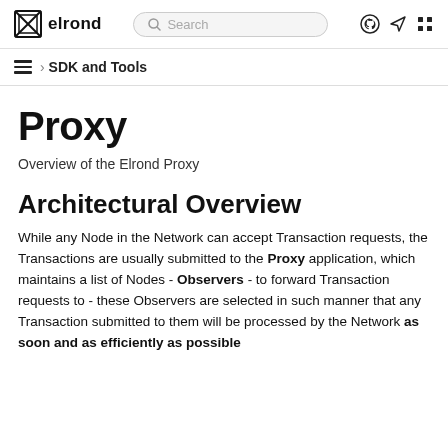elrond | Search
› SDK and Tools
Proxy
Overview of the Elrond Proxy
Architectural Overview
While any Node in the Network can accept Transaction requests, the Transactions are usually submitted to the Proxy application, which maintains a list of Nodes - Observers - to forward Transaction requests to - these Observers are selected in such manner that any Transaction submitted to them will be processed by the Network as soon and as efficiently as possible.